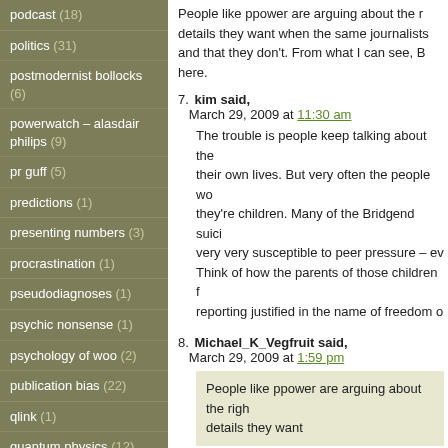podcast (18)
politics (31)
postmodernist bollocks (6)
powerwatch – alasdair philips (9)
pr guff (5)
predictions (1)
presenting numbers (3)
procrastination (1)
pseudodiagnoses (1)
psychic nonsense (1)
psychology of woo (2)
publication bias (22)
qlink (1)
quantum physics (12)
rape (1)
references (59)
regulating media (2)
regulating nonsense (6)
regulating research (34)
People like ppower are arguing about the right to get the details they want when the same journalists... and that they don't. From what I can see, B... here.
7. kim said, March 29, 2009 at 11:30 am
The trouble is people keep talking about their own lives. But very often the people w... they're children. Many of the Bridgend suici... very very susceptible to peer pressure – ev... Think of how the parents of those children f... reporting justified in the name of freedom o...
8. Michael_K_Vegfruit said, March 29, 2009 at 1:59 pm
People like ppower are arguing about the righ... details they want
It's not a question of the rights of journalists... freedom of information. Those rights and fre... outlined here.
The way to correct those negative effects is... information, but to use those rights and free... effects. See, for example, how the blogosph... least some sort of apology out of the Sunda... survivors or the recent US sceptics' campai... correct George Will's climate change denial...